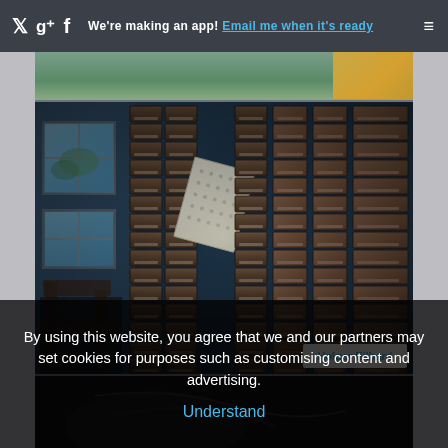We're making an app! Email me when it's ready
[Figure (photo): Abandoned card catalog filing cabinet with many small wooden drawers, a paper card sticking out, and a window visible on the left side. Blue-tinted atmospheric photo by Holger Eilhard.]
Holger Eilhard
[Figure (photo): Partial dark image visible at bottom of page, appears to show dark background with some curved elements.]
By using this website, you agree that we and our partners may set cookies for purposes such as customising content and advertising.
Understand